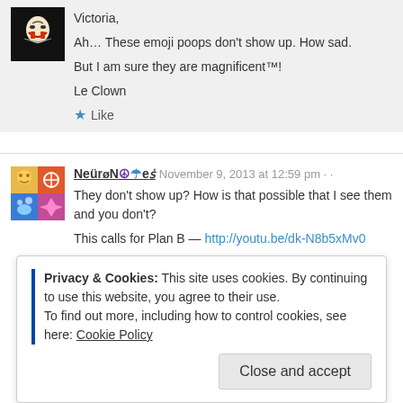Victoria,

Ah... These emoji poops don't show up. How sad.

But I am sure they are magnificent™!

Le Clown
NeüřøNøŧeš  November 9, 2013 at 12:59 pm

They don't show up? How is that possible that I see them and you don't?

This calls for Plan B — http://youtu.be/dk-N8b5xMv0

— ♥
Privacy & Cookies: This site uses cookies. By continuing to use this website, you agree to their use.
To find out more, including how to control cookies, see here: Cookie Policy
Close and accept